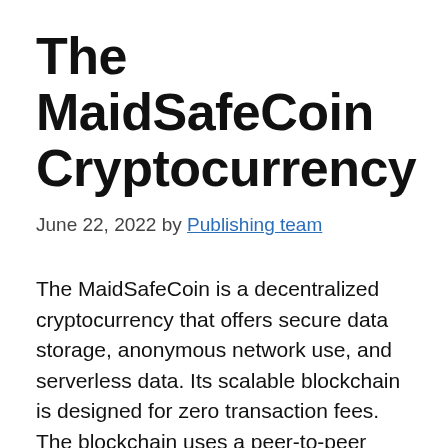The MaidSafeCoin Cryptocurrency
June 22, 2022 by Publishing team
The MaidSafeCoin is a decentralized cryptocurrency that offers secure data storage, anonymous network use, and serverless data. Its scalable blockchain is designed for zero transaction fees. The blockchain uses a peer-to-peer network to allow people to exchange their Safecoins for MaidSafeCoins. The network is based on